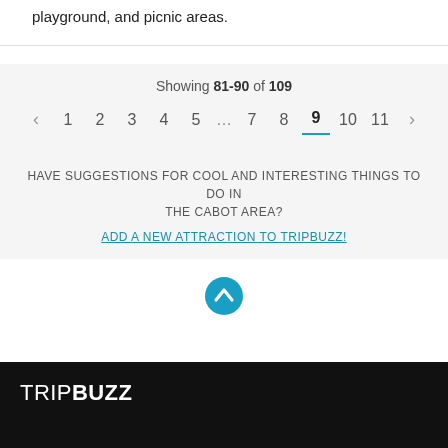playground, and picnic areas.
Showing 81-90 of 109
‹ 1 2 3 4 5 … 7 8 9 10 11 ›
HAVE SUGGESTIONS FOR COOL AND INTERESTING THINGS TO DO IN THE CABOT AREA?
ADD A NEW ATTRACTION TO TRIPBUZZ!
[Figure (other): Scroll-to-top circular button with upward chevron arrow in teal/blue color]
TRIPBUZZ